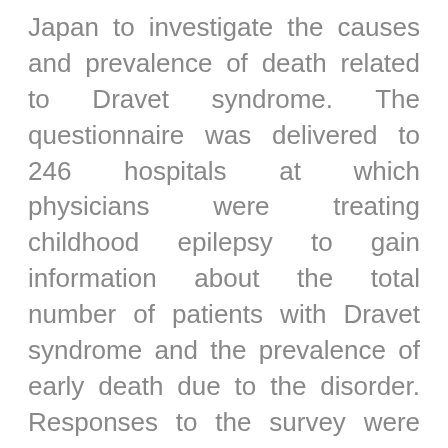Japan to investigate the causes and prevalence of death related to Dravet syndrome. The questionnaire was delivered to 246 hospitals at which physicians were treating childhood epilepsy to gain information about the total number of patients with Dravet syndrome and the prevalence of early death due to the disorder. Responses to the survey were collected from 91 hospitals, and a total of 63 of 623 patients with Dravet syndrome had died. Data from 59 of these patients were analyzed. The age at death for these patients ranged from 13 months to 24 years and 11 months, with a median age of 6 years and 8 months. The causes of mortality included sudden death in 31 patients (53%), acute encephalopathy with status epilepticus (SE) in 21 patients (36%).